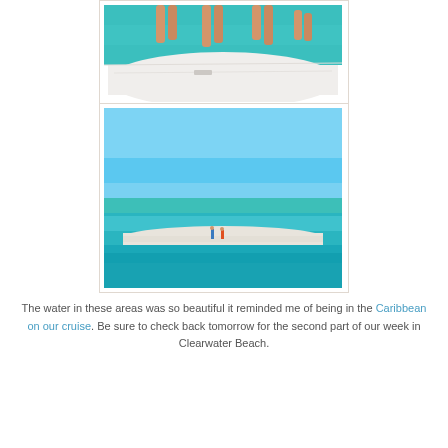[Figure (photo): Partial view of people jumping off a boat deck into turquoise water, only legs visible at top, white boat hull visible at bottom]
[Figure (photo): Beautiful turquoise Caribbean-like beach water with white sandbar and two tiny figures standing on it, bright blue sky above]
The water in these areas was so beautiful it reminded me of being in the Caribbean on our cruise. Be sure to check back tomorrow for the second part of our week in Clearwater Beach.